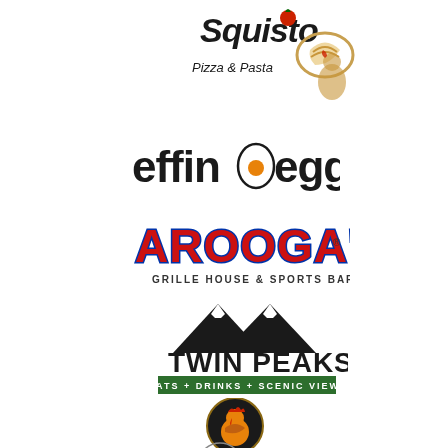[Figure (logo): Squisito Pizza & Pasta logo with tomato and pasta illustration]
[Figure (logo): effin egg logo with fried egg graphic]
[Figure (logo): Arooga's Grille House & Sports Bar logo in red bubble letters with blue outline]
[Figure (logo): Twin Peaks restaurant logo with mountain peaks and text EATS + DRINKS + SCENIC VIEWS]
[Figure (logo): Another Broken Egg Cafe logo with rooster in circular badge]
[Figure (logo): Partial logo at bottom with orange flame/fire icon]